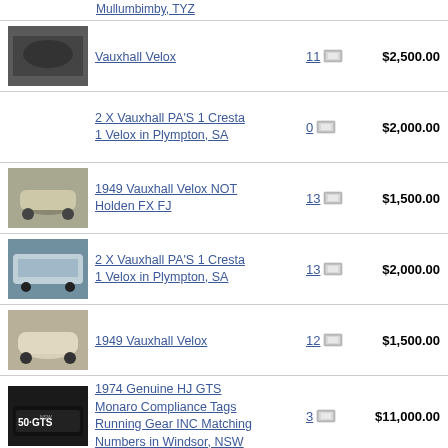Vauxhall Velox — 11 photos — $2,500.00
2 X Vauxhall PA'S 1 Cresta 1 Velox in Plympton, SA — 0 photos — $2,000.00
1949 Vauxhall Velox NOT Holden FX FJ — 13 photos — $1,500.00
2 X Vauxhall PA'S 1 Cresta 1 Velox in Plympton, SA — 13 photos — $2,000.00
1949 Vauxhall Velox — 12 photos — $1,500.00
1974 Genuine HJ GTS Monaro Compliance Tags Running Gear INC Matching Numbers in Windsor, NSW — 3 photos — $11,000.00